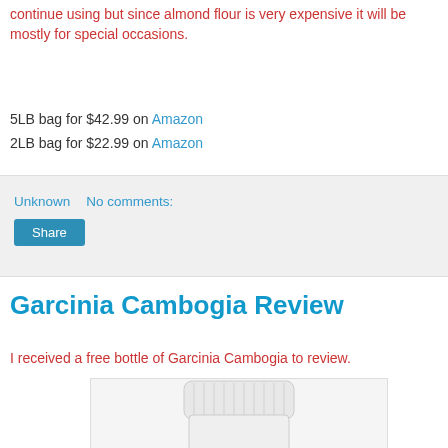continue using but since almond flour is very expensive it will be mostly for special occasions.
5LB bag for $42.99 on Amazon
2LB bag for $22.99 on Amazon
Unknown   No comments:
Share
Garcinia Cambogia Review
I received a free bottle of Garcinia Cambogia to review.
[Figure (photo): A white supplement bottle with a white cap, partially visible]